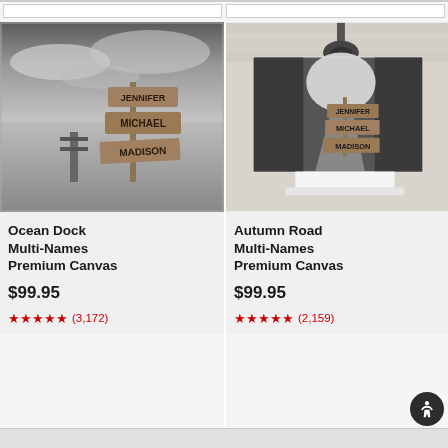[Figure (photo): Ocean Dock Multi-Names Premium Canvas product photo showing a black and white image of a wooden signpost with names Jennifer, Michael, Madison over an ocean dock scene]
Ocean Dock Multi-Names Premium Canvas
$99.95
★★★★★ (3,172)
[Figure (photo): Autumn Road Multi-Names Premium Canvas product photo showing a black and white image of a wooden signpost with names Jennifer, Michael, Madison on an autumn forested road, displayed on a white pedestal against a brick wall]
Autumn Road Multi-Names Premium Canvas
$99.95
★★★★★ (2,159)